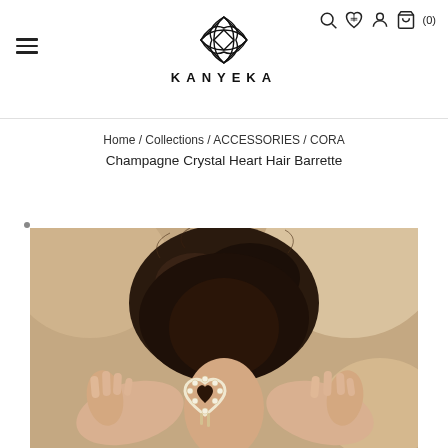KANYEKA — navigation header with logo, search, wishlist, account, cart icons
Home / Collections / ACCESSORIES / CORA Champagne Crystal Heart Hair Barrette
[Figure (photo): Back-of-head photo of a woman with dark hair in an updo, holding her hair up with both hands. A crystal/pearl heart-shaped hair barrette is visible in her hair.]